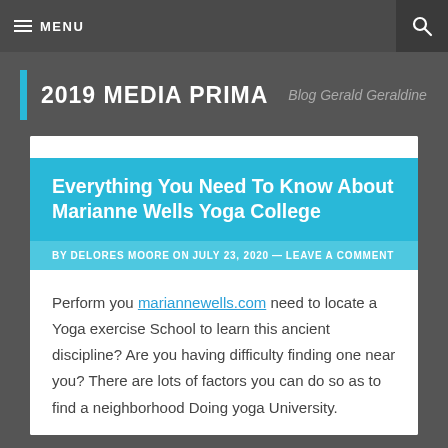≡ MENU
2019 MEDIA PRIMA   Blog Gerald Geraldine
Everything You Need To Know About Marianne Wells Yoga College
BY DELORES MOORE ON JULY 23, 2020 — LEAVE A COMMENT
Perform you mariannewells.com need to locate a Yoga exercise School to learn this ancient discipline? Are you having difficulty finding one near you? There are lots of factors you can do so as to find a neighborhood Doing yoga University.